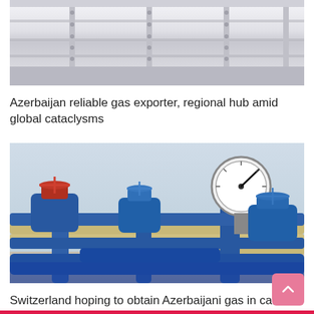[Figure (photo): Close-up photograph of white industrial pipeline flanges and pipes]
Azerbaijan reliable gas exporter, regional hub amid global cataclysms
[Figure (photo): Industrial gas facility with blue gate valves, pipes, and a pressure gauge in the foreground]
Switzerland hoping to obtain Azerbaijani gas in case of energy crisis